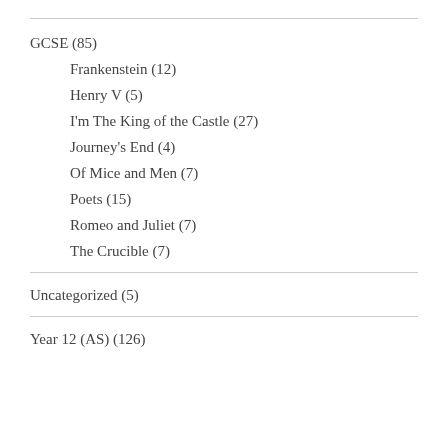GCSE (85)
Frankenstein (12)
Henry V (5)
I'm The King of the Castle (27)
Journey's End (4)
Of Mice and Men (7)
Poets (15)
Romeo and Juliet (7)
The Crucible (7)
Uncategorized (5)
Year 12 (AS) (126)